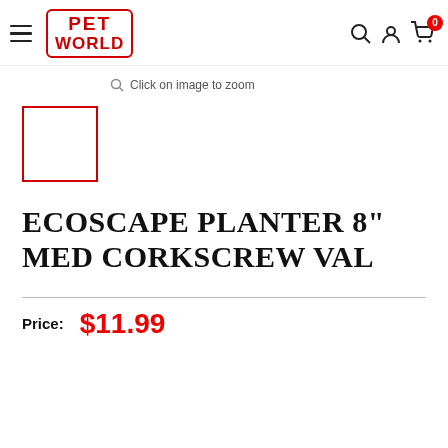[Figure (logo): Pet World logo with red border text on white background, with hamburger menu icon on left and search, account, cart icons on right]
Click on image to zoom
[Figure (photo): Empty product thumbnail box with red border outline]
ECOSCAPE PLANTER 8" MED CORKSCREW VAL
Price: $11.99